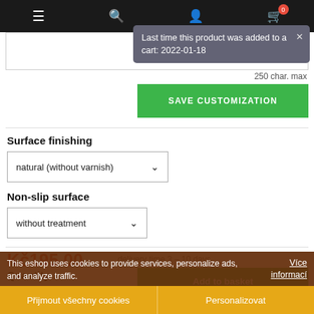Navigation bar with menu, search, account, cart (0)
Last time this product was added to a cart: 2022-01-18
250 char. max
SAVE CUSTOMIZATION
Surface finishing
natural (without varnish)
Non-slip surface
without treatment
Kč195.00
delivery time 3 - 10 days
Quantity
Add to basket
in stock
This eshop uses cookies to provide services, personalize ads, and analyze traffic.
Více informací
Přijmout všechny cookies
Personalizovat